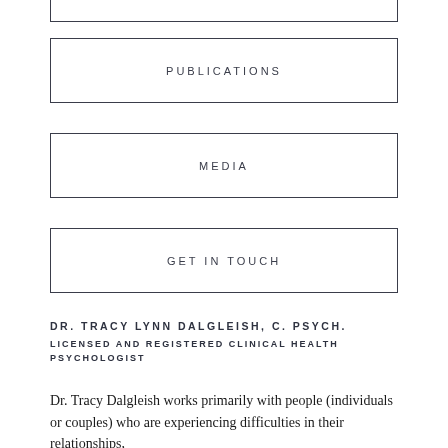PUBLICATIONS
MEDIA
GET IN TOUCH
DR. TRACY LYNN DALGLEISH, C. PSYCH.
LICENSED AND REGISTERED CLINICAL HEALTH PSYCHOLOGIST
Dr. Tracy Dalgleish works primarily with people (individuals or couples) who are experiencing difficulties in their relationships,